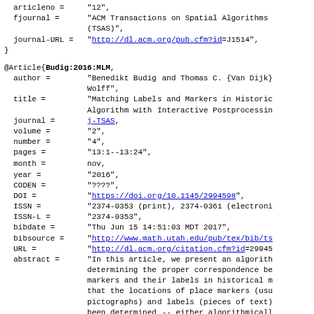articleno = "12",
  fjournal =      "ACM Transactions on Spatial Algorithms
                (TSAS)",
  journal-URL =   "http://dl.acm.org/pub.cfm?id=J1514",
}
@Article{Budig:2016:MLM,
  author =        "Benedikt Budig and Thomas C. {Van Dijk} and
                  Wolff",
  title =         "Matching Labels and Markers in Historic
                  Algorithm with Interactive Postprocessin
  journal =       j-TSAS,
  volume =        "2",
  number =        "4",
  pages =         "13:1--13:24",
  month =         nov,
  year =          "2016",
  CODEN =         "????",
  DOI =           "https://doi.org/10.1145/2994598",
  ISSN =          "2374-0353 (print), 2374-0361 (electron
  ISSN-L =        "2374-0353",
  bibdate =       "Thu Jun 15 14:51:03 MDT 2017",
  bibsource =     "http://www.math.utah.edu/pub/tex/bib/ts
  URL =           "http://dl.acm.org/citation.cfm?id=2994
  abstract =      "In this article, we present an algorith
                  determining the proper correspondence be
                  markers and their labels in historical m
                  that the locations of place markers (usu
                  pictographs) and labels (pieces of text)
                  been determined -- either algorithmicall